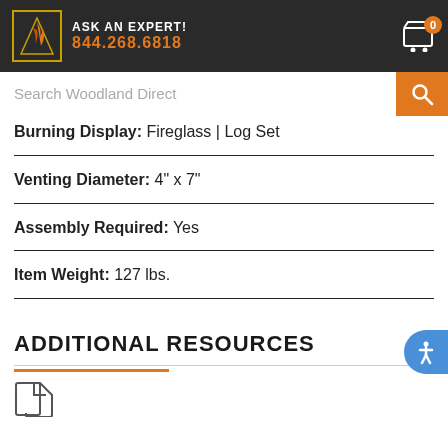ASK AN EXPERT! 844.268.6818
Search Woodland Direct
Burning Display: Fireglass | Log Set
Venting Diameter: 4" x 7"
Assembly Required: Yes
Item Weight: 127 lbs.
ADDITIONAL RESOURCES